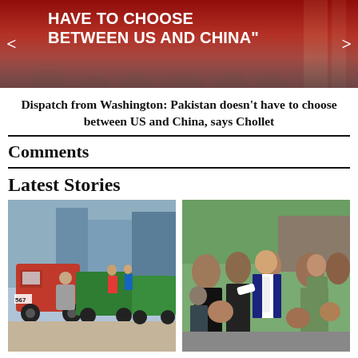[Figure (photo): Red banner carousel with text 'HAVE TO CHOOSE BETWEEN US and CHINA"' on dark red background with navigation arrows]
Dispatch from Washington: Pakistan doesn't have to choose between US and China, says Chollet
Comments
Latest Stories
[Figure (photo): Street photo of auto-rickshaws lined up, with a man leaning into one. Number 567 visible on vehicle.]
[Figure (photo): Photo of a man in white shirt and dark vest (Imran Khan-like figure) surrounded by a crowd of people.]